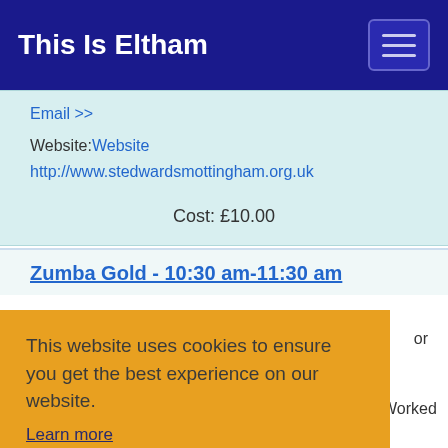This Is Eltham
Email >>
Website: Website
http://www.stedwardsmottingham.org.uk
Cost: £10.00
Zumba Gold - 10:30 am-11:30 am
This website uses cookies to ensure you get the best experience on our website.
Learn more
Got it!
same moves but at a lower intensity. Worked to